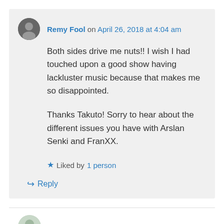Remy Fool on April 26, 2018 at 4:04 am
Both sides drive me nuts!! I wish I had touched upon a good show having lackluster music because that makes me so disappointed.

Thanks Takuto! Sorry to hear about the different issues you have with Arslan Senki and FranXX.
Liked by 1 person
Reply
WeekendOtaku on April 25, 2018 at 5:04 am
Short answer to your question: I don't think I